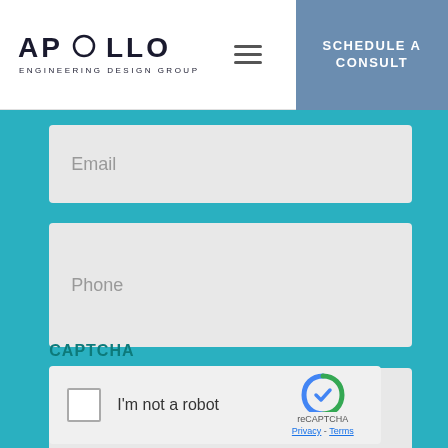APOLLO ENGINEERING DESIGN GROUP
Email
Phone
How can we help?
CAPTCHA
I'm not a robot
reCAPTCHA
Privacy - Terms